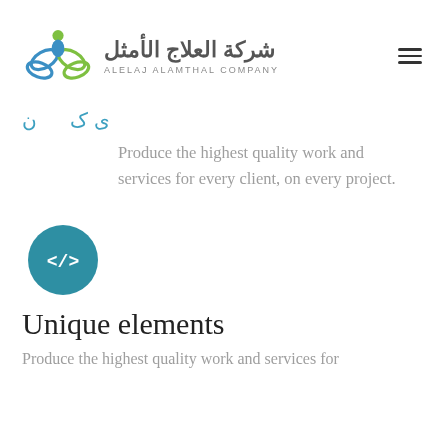[Figure (logo): Alelaj Alamthal Company logo with butterfly/flower SVG icon and Arabic and English text]
شركة العلاج الأمثل
ALELAJ ALAMTHAL COMPANY
Produce the highest quality work and services for every client, on every project.
[Figure (illustration): Teal circle icon with code tag symbol </> inside]
Unique elements
Produce the highest quality work and services for